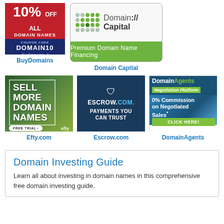[Figure (logo): BuyDomains ad: red background with '10% OFF ALL DOMAIN NAMES', blue section with 'COUPON CODE DOMAIN10', BuyDomains brand logo]
BuyDomains
[Figure (logo): Domain Capital ad: light grey rounded rectangle with green dots grid, 'Domain:/Capital' text, green bar 'Premium Domain Name Financing']
Domain Capital
[Figure (logo): Efty.com ad: dark green gradient background with tropical leaves, 'SELL MORE DOMAIN NAMES', 'FREE TRIAL', 'efty' brand]
Efty.com
[Figure (logo): Escrow.com ad: dark navy background with shield logo, 'ESCROW.COM. PAYMENTS YOU CAN TRUST']
Escrow.com
[Figure (logo): DomainAgents ad: 'DomainAgents Negotiation Platform', '0% Commission on Negotiated Sales', 'CLICK HERE!']
DomainAgents
Domain Investing Guide
Learn all about investing in domain names in this comprehensive free domain investing guide.